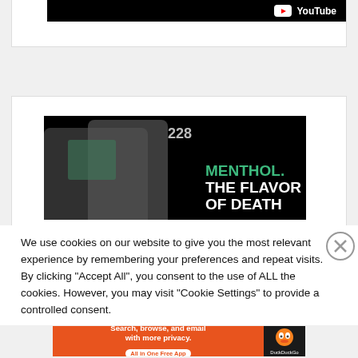[Figure (screenshot): Top portion of a card with black YouTube banner showing YouTube logo and text]
[Figure (photo): Black and white photo of two people with text overlay: MENTHOL. THE FLAVOR OF DEATH in green and white bold text. Number 228 visible in background.]
We use cookies on our website to give you the most relevant experience by remembering your preferences and repeat visits. By clicking "Accept All", you consent to the use of ALL the cookies. However, you may visit "Cookie Settings" to provide a controlled consent.
Advertisements
[Figure (screenshot): DuckDuckGo advertisement banner: Search, browse, and email with more privacy. All in One Free App. Orange background with DuckDuckGo logo on dark right panel.]